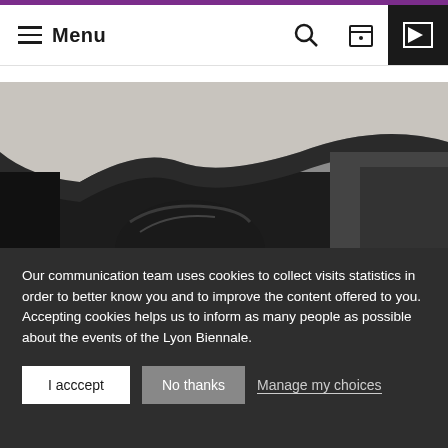Menu
[Figure (photo): A person's head partially visible beneath a torn or broken architectural element (concrete or paper), dark background, gallery/installation setting]
Our communication team uses cookies to collect visits statistics in order to better know you and to improve the content offered to you. Accepting cookies helps us to inform as many people as possible about the events of the Lyon Biennale.
I acccept
No thanks
Manage my choices